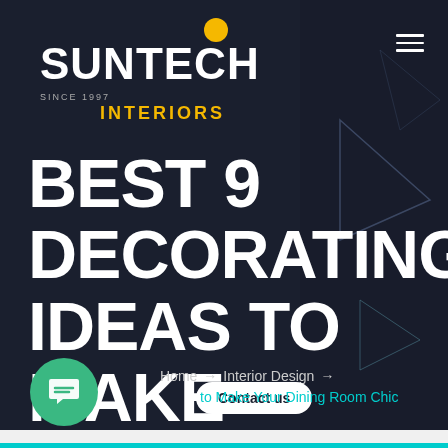[Figure (logo): Suntech Interiors logo with yellow dot above SUNTECH text and INTERIORS in gold, SINCE 1997 subtitle]
BEST 9 DECORATING IDEAS TO MAKE YOUR DINING ROOM CHIC
Home → Interior Design → to Make Your Dining Room Chic
Contact us